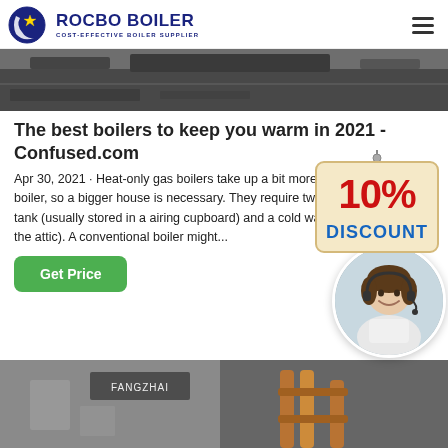[Figure (logo): Rocbo Boiler logo — blue circular icon with crescent shape and star, text 'ROCBO BOILER' in bold dark blue, subtitle 'COST-EFFECTIVE BOILER SUPPLIER']
[Figure (photo): Dark industrial/boiler room photograph, cropped banner at top of page]
The best boilers to keep you warm in 2021 - Confused.com
Apr 30, 2021 · Heat-only gas boilers take up a bit more space than a combi boiler, so a bigger house is necessary. They require two tanks: A hot water tank (usually stored in a airing cupboard) and a cold water tank (usually in the attic). A conventional boiler might...
[Figure (illustration): Hanging sign badge showing '10% DISCOUNT' in red and blue bold text on cream/beige background, suspended by a cord from a hook]
[Figure (photo): Customer service representative woman wearing headset, smiling, in circular cropped portrait, with another agent blurred in background]
[Figure (photo): Bottom banner photo showing industrial boilers/pipes in building exterior, with signage visible]